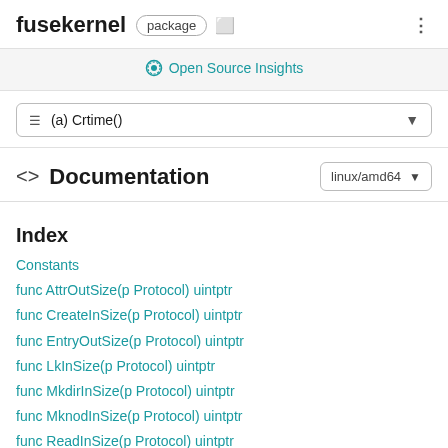fusekernel package
Open Source Insights
≡ (a) Crtime()
<> Documentation
linux/amd64
Index
Constants
func AttrOutSize(p Protocol) uintptr
func CreateInSize(p Protocol) uintptr
func EntryOutSize(p Protocol) uintptr
func LkInSize(p Protocol) uintptr
func MkdirInSize(p Protocol) uintptr
func MknodInSize(p Protocol) uintptr
func ReadInSize(p Protocol) uintptr